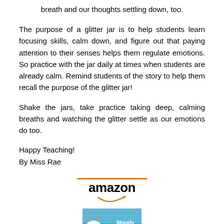breath and our thoughts settling down, too.
The purpose of a glitter jar is to help students learn focusing skills, calm down, and figure out that paying attention to their senses helps them regulate emotions. So practice with the jar daily at times when students are already calm. Remind students of the story to help them recall the purpose of the glitter jar!
Shake the jars, take practice taking deep, calming breaths and watching the glitter settle as our emotions do too.
Happy Teaching!
By Miss Rae
[Figure (logo): Amazon logo with orange horizontal line above the word 'amazon' in black bold text and the Amazon smile arrow beneath]
[Figure (photo): Book cover for 'Moody Cow' with illustrated cow character on green background]